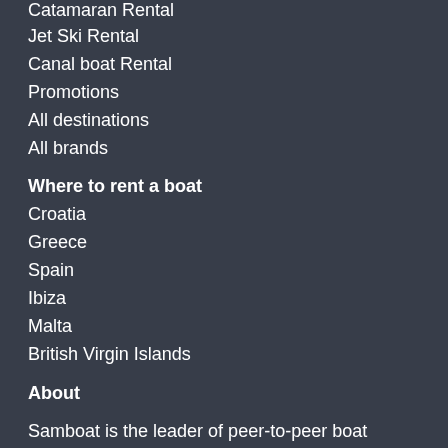Catamaran Rental
Jet Ski Rental
Canal boat Rental
Promotions
All destinations
All brands
Where to rent a boat
Croatia
Greece
Spain
Ibiza
Malta
British Virgin Islands
About
Samboat is the leader of peer-to-peer boat rentals and professional yacht charters. Whether you want to rent a boat at the best price or make money with